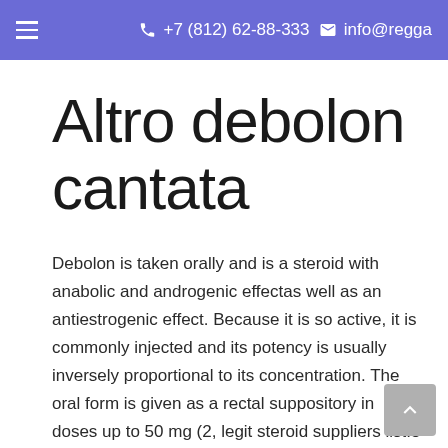☰  +7 (812) 62-88-333  ✉ info@regga
Altro debolon cantata
Debolon is taken orally and is a steroid with anabolic and androgenic effectas well as an antiestrogenic effect. Because it is so active, it is commonly injected and its potency is usually inversely proportional to its concentration. The oral form is given as a rectal suppository in doses up to 50 mg (2, legit steroid suppliers list.5 ml) twice a day, legit steroid suppliers